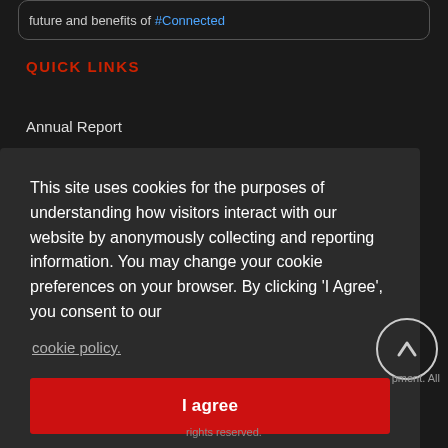future and benefits of #Connected #Disruption
QUICK LINKS
Annual Report
This site uses cookies for the purposes of understanding how visitors interact with our website by anonymously collecting and reporting information. You may change your cookie preferences on your browser. By clicking 'I Agree', you consent to our cookie policy.
I agree
pment. All rights reserved.